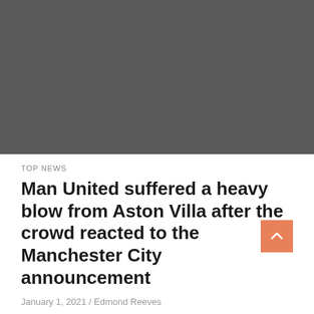[Figure (photo): Large dark gray placeholder image occupying the top portion of the page]
TOP NEWS
Man United suffered a heavy blow from Aston Villa after the crowd reacted to the Manchester City announcement
January 1, 2021 / Edmond Reeves